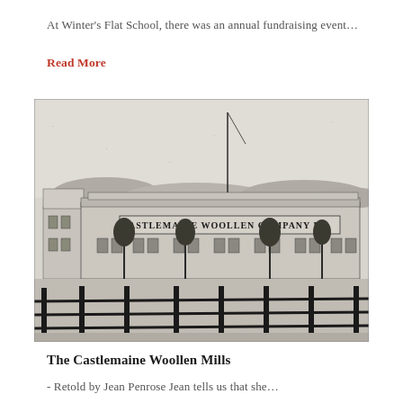At Winter's Flat School, there was an annual fundraising event…
Read More
[Figure (photo): Black and white historical photograph of the Castlemaine Woollen Company Ltd building, a long single-storey structure with a sign reading 'CASTLEMAINE WOOLLEN COMPANY LT[D]', trees in front, a tall flagpole, and a wooden fence in the foreground.]
The Castlemaine Woollen Mills
- Retold by Jean Penrose Jean tells us that she…